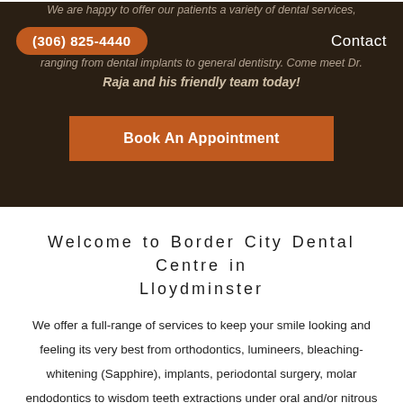We are happy to offer our patients a variety of dental services, ranging from dental implants to general dentistry. Come meet Dr.
(306) 825-4440    Contact
Raja and his friendly team today!
Book An Appointment
Welcome to Border City Dental Centre in Lloydminster
We offer a full-range of services to keep your smile looking and feeling its very best from orthodontics, lumineers, bleaching-whitening (Sapphire), implants, periodontal surgery, molar endodontics to wisdom teeth extractions under oral and/or nitrous